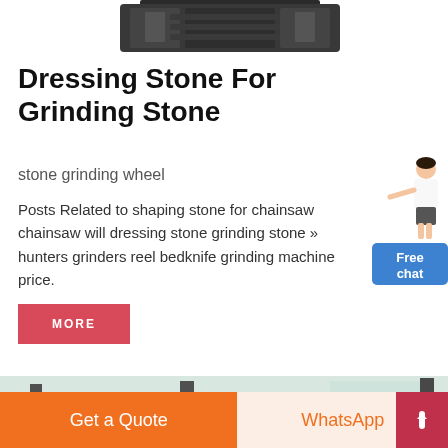[Figure (photo): Partial top view of a large industrial grinding machine, dark gray/black metal body visible at top of page]
Dressing Stone For Grinding Stone
stone grinding wheel
Posts Related to shaping stone for chainsaw chainsaw will dressing stone grinding stone » hunters grinders reel bedknife grinding machine price.
[Figure (illustration): Customer service representative figure (woman in white blouse) with Free chat button below]
[Figure (photo): Industrial grinding/screening machine, gray metal equipment photographed from the side]
Get a Quote   WhatsApp